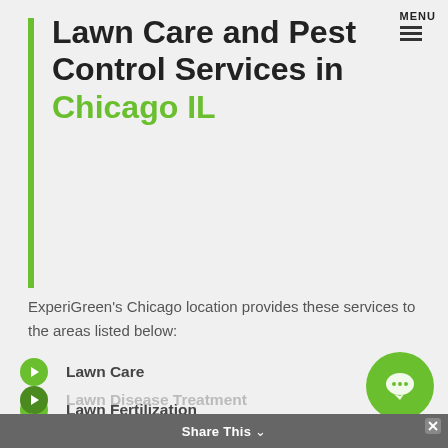MENU
Lawn Care and Pest Control Services in Chicago IL
ExperiGreen's Chicago location provides these services to the areas listed below:
Lawn Care
Lawn Fertilization
Weed Control
Lawn Aeration and Seeding
Grub Control
Surface Feeding Insect Control
Lawn Disease Treatment
Share This